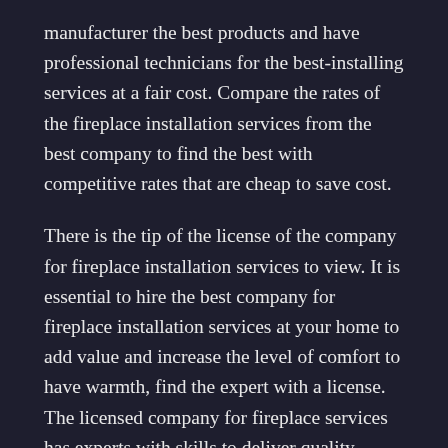manufacturer the best products and have professional technicians for the best-installing services at a fair cost. Compare the rates of the fireplace installation services from the best company to find the best with competitive rates that are cheap to save cost.
There is the tip of the license of the company for fireplace installation services to view. It is essential to hire the best company for fireplace installation services at your home to add value and increase the level of comfort to have warmth, find the expert with a license. The licensed company for fireplace services has experts with skills to deliver quality services to meet the clients' needs and ensure they meet the standard in their service delivery.
Moreover, there is the reputation of the best company for fireplace installation services to view. Find the best